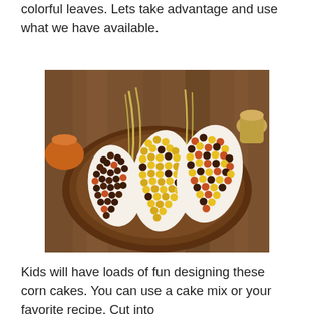colorful leaves. Lets take advantage and use what we have available.
[Figure (photo): Three decorative corn cob shaped cakes on a wooden plate, covered with colorful candy pieces (brown, yellow, orange) arranged to look like corn kernels. Background shows a rustic wooden surface with clay pots and husks.]
Kids will have loads of fun designing these corn cakes. You can use a cake mix or your favorite recipe. Cut into